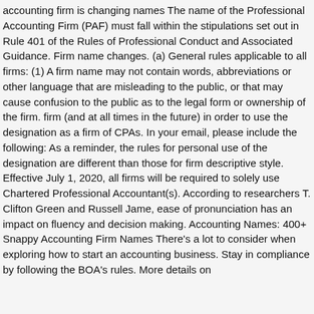accounting firm is changing names The name of the Professional Accounting Firm (PAF) must fall within the stipulations set out in Rule 401 of the Rules of Professional Conduct and Associated Guidance. Firm name changes. (a) General rules applicable to all firms: (1) A firm name may not contain words, abbreviations or other language that are misleading to the public, or that may cause confusion to the public as to the legal form or ownership of the firm. firm (and at all times in the future) in order to use the designation as a firm of CPAs. In your email, please include the following: As a reminder, the rules for personal use of the designation are different than those for firm descriptive style. Effective July 1, 2020, all firms will be required to solely use Chartered Professional Accountant(s). According to researchers T. Clifton Green and Russell Jame, ease of pronunciation has an impact on fluency and decision making. Accounting Names: 400+ Snappy Accounting Firm Names There's a lot to consider when exploring how to start an accounting business. Stay in compliance by following the BOA's rules. More details on